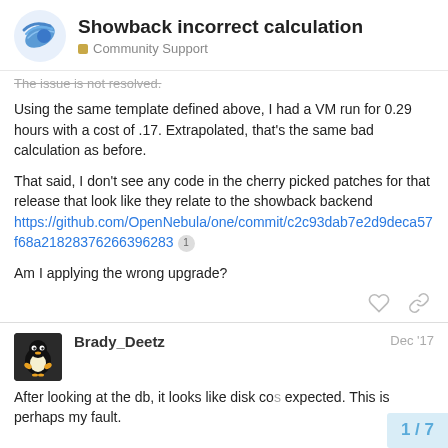Showback incorrect calculation — Community Support
The issue is not resolved.
Using the same template defined above, I had a VM run for 0.29 hours with a cost of .17. Extrapolated, that's the same bad calculation as before.
That said, I don't see any code in the cherry picked patches for that release that look like they relate to the showback backend https://github.com/OpenNebula/one/commit/c2c93dab7e2d9deca57f68a21828376266396283
Am I applying the wrong upgrade?
Brady_Deetz Dec '17
After looking at the db, it looks like disk cost expected. This is perhaps my fault.
1 / 7